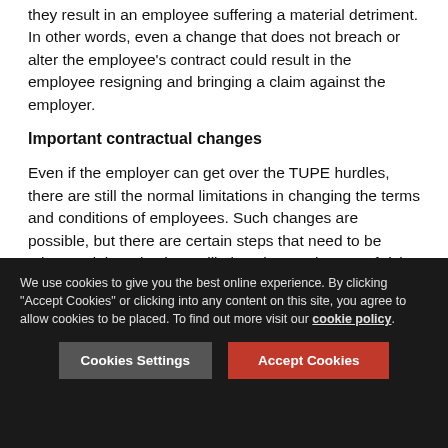they result in an employee suffering a material detriment. In other words, even a change that does not breach or alter the employee's contract could result in the employee resigning and bringing a claim against the employer.
Important contractual changes
Even if the employer can get over the TUPE hurdles, there are still the normal limitations in changing the terms and conditions of employees. Such changes are possible, but there are certain steps that need to be taken and there is always likely to be an element of risk.
It is possible that the employees' existing contracts allow certain terms to be varied. If that is not the case, then the employer could attempt to agree the changes with the
We use cookies to give you the best online experience. By clicking "Accept Cookies" or clicking into any content on this site, you agree to allow cookies to be placed. To find out more visit our cookie policy.